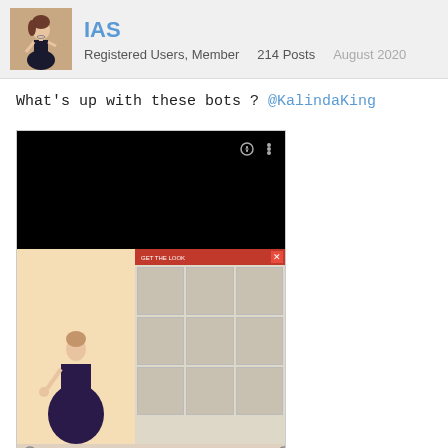IAS
Registered Users, Member   214 Posts   August 2020
What's up with these bots ? @KalindaKing
[Figure (screenshot): Screenshot of a mobile game app showing a character in a dark gown in a dressing room with item selection panel, and below a black video frame with caption 'Brittany Applegate - 6 HOURS AGO']